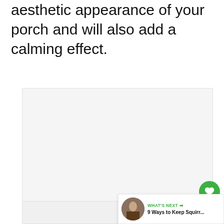aesthetic appearance of your porch and will also add a calming effect.
[Figure (photo): Large image placeholder area with light gray background, three dots at bottom center indicating a slideshow/carousel. Heart/like button (green circle with heart icon, count 373) and share button on the right side. 'WHAT'S NEXT' card at bottom right showing '9 Ways to Keep Squirr...' with a thumbnail image.]